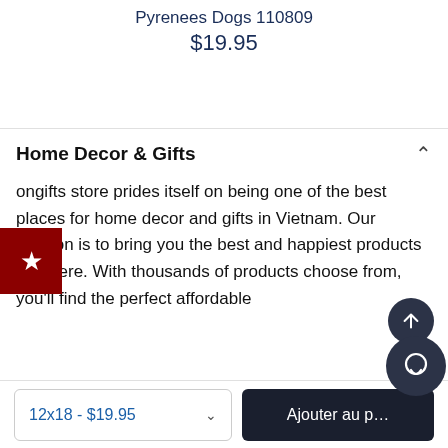Pyrenees Dogs 110809
$19.95
Home Decor & Gifts
ongifts store prides itself on being one of the best places for home decor and gifts in Vietnam. Our mission is to bring you the best and happiest products out there. With thousands of products choose from, you'll find the perfect affordable
12x18 - $19.95
Ajouter au p...